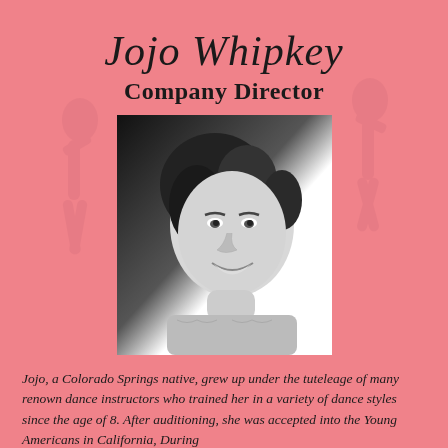Jojo Whipkey
Company Director
[Figure (photo): Black and white headshot photo of Jojo Whipkey, a woman with curly dark hair, smiling, wearing a light knit top.]
Jojo, a Colorado Springs native, grew up under the tuteleage of many renown dance instructors who trained her in a variety of dance styles since the age of 8. After auditioning, she was accepted into the Young Americans in California, During...